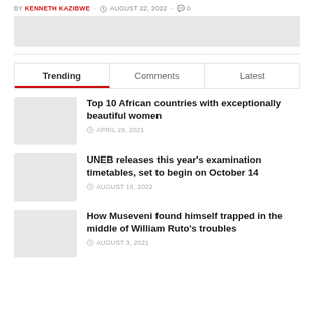BY KENNETH KAZIBWE · AUGUST 22, 2022 · 0
[Figure (photo): Partial article image placeholder at top of page]
Trending | Comments | Latest
Top 10 African countries with exceptionally beautiful women
APRIL 29, 2021
UNEB releases this year's examination timetables, set to begin on October 14
AUGUST 18, 2022
How Museveni found himself trapped in the middle of William Ruto's troubles
AUGUST 3, 2021